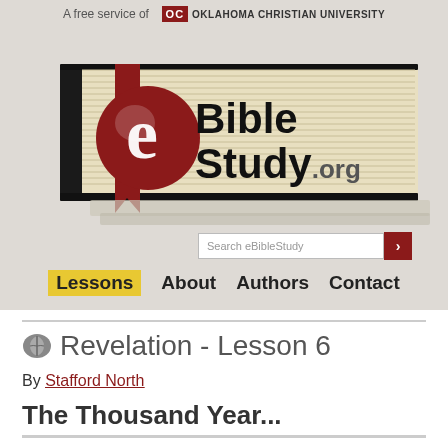A free service of Oklahoma Christian University
[Figure (illustration): eBibleStudy.org logo overlaid on a large illustrated Bible book with cream-colored pages, dark cover, and a red ribbon bookmark]
Search eBibleStudy
Lessons | About | Authors | Contact
Revelation - Lesson 6
By Stafford North
The Thousand Year...